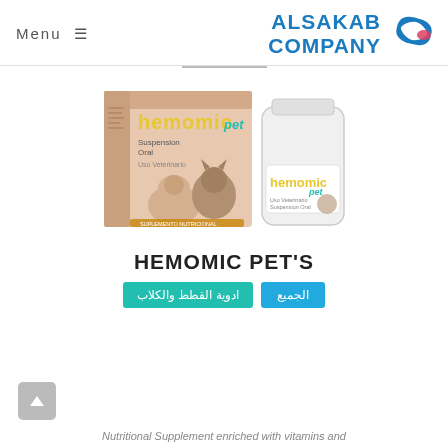Menu ≡   ALSAKAB COMPANY
[Figure (photo): Hemomic Pet product photo showing a box with puppy and kitten images labeled 'hemomic pet Suspension Oral Uso Veterinario' and a white bottle labeled 'hemomic pet']
HEMOMIC PET'S
ادوية القطط والكلاب
الجميع
Nutritional Supplement enriched with vitamins and